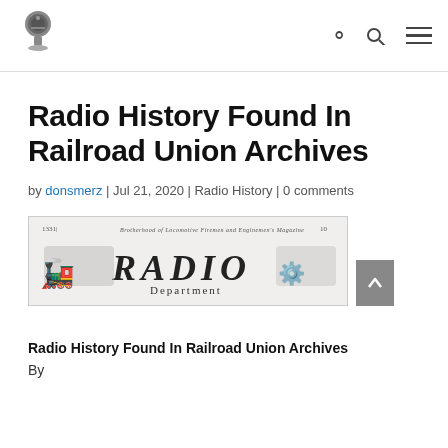[Logo] [Search icon] [Menu icon]
Radio History Found In Railroad Union Archives
by donsmerz | Jul 21, 2020 | Radio History | 0 comments
[Figure (illustration): Header image from Brotherhood of Locomotive Firemen and Enginemen's Magazine showing 'RADIO Department' masthead with decorative train and figures artwork]
Radio History Found In Railroad Union Archives
By